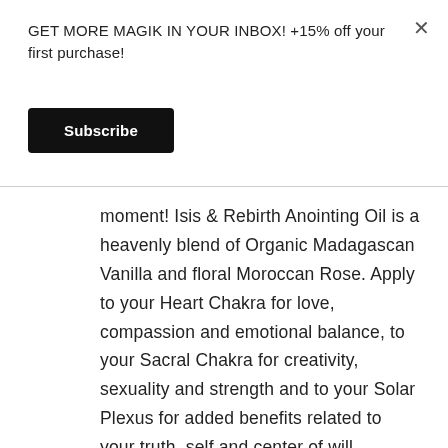GET MORE MAGIK IN YOUR INBOX! +15% off your first purchase!
Subscribe
moment! Isis & Rebirth Anointing Oil is a heavenly blend of Organic Madagascan Vanilla and floral Moroccan Rose. Apply to your Heart Chakra for love, compassion and emotional balance, to your Sacral Chakra for creativity, sexuality and strength and to your Solar Plexus for added benefits related to your truth, self and center of will.